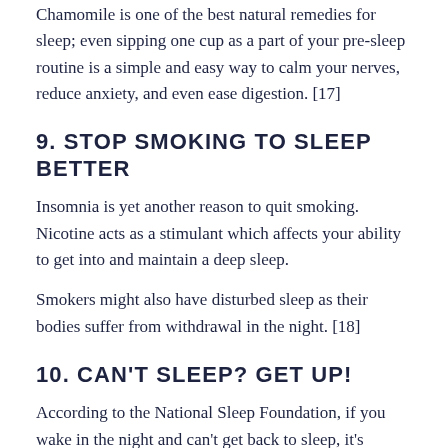Chamomile is one of the best natural remedies for sleep; even sipping one cup as a part of your pre-sleep routine is a simple and easy way to calm your nerves, reduce anxiety, and even ease digestion. [17]
9. STOP SMOKING TO SLEEP BETTER
Insomnia is yet another reason to quit smoking. Nicotine acts as a stimulant which affects your ability to get into and maintain a deep sleep.
Smokers might also have disturbed sleep as their bodies suffer from withdrawal in the night. [18]
10. CAN'T SLEEP? GET UP!
According to the National Sleep Foundation, if you wake in the night and can't get back to sleep, it's actually better to get up and do something active rather than lying in bed and...